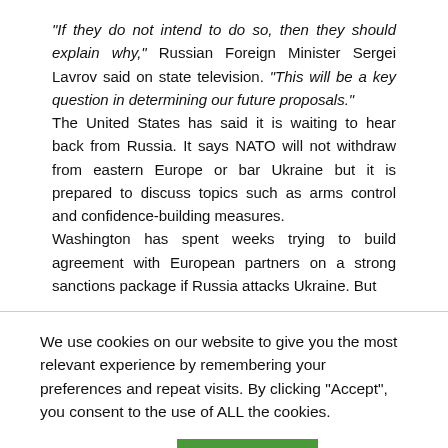“If they do not intend to do so, then they should explain why,” Russian Foreign Minister Sergei Lavrov said on state television. “This will be a key question in determining our future proposals.”
The United States has said it is waiting to hear back from Russia. It says NATO will not withdraw from eastern Europe or bar Ukraine but it is prepared to discuss topics such as arms control and confidence-building measures.
Washington has spent weeks trying to build agreement with European partners on a strong sanctions package if Russia attacks Ukraine. But
We use cookies on our website to give you the most relevant experience by remembering your preferences and repeat visits. By clicking “Accept”, you consent to the use of ALL the cookies.
Cookie settings  ACCEPT